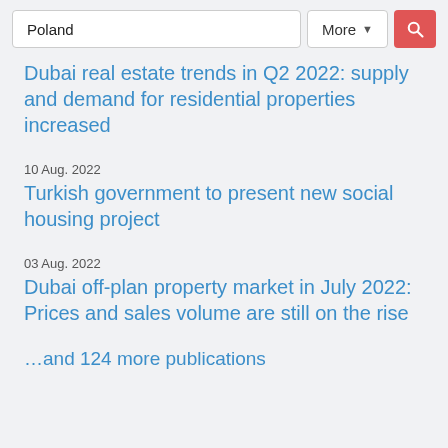Poland | More | [search button]
Dubai real estate trends in Q2 2022: supply and demand for residential properties increased
10 Aug. 2022
Turkish government to present new social housing project
03 Aug. 2022
Dubai off-plan property market in July 2022: Prices and sales volume are still on the rise
…and 124 more publications